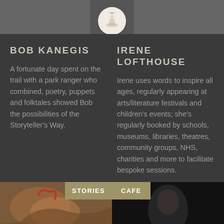[Figure (photo): Top banner image showing people with a circular logo/emblem in the center]
BOB KANEGIS
A fortunate day spent on the trail with a park ranger who combined, poetry, puppets and folktales showed Bob the possibilities of the Storyteller's Way.
IRENE LOFTHOUSE
Irene uses words to inspire all ages, regularly appearing at arts/literature festivals and children's events; she's regularly booked by schools, museums, libraries, theatres, community groups, NHS, charities and more to facilitate bespoke sessions.
[Figure (photo): Bottom left illustration of a figure with red hair in artistic style with STORIES button overlay]
[Figure (photo): Bottom right dark photo with a person and CAFE button overlay]